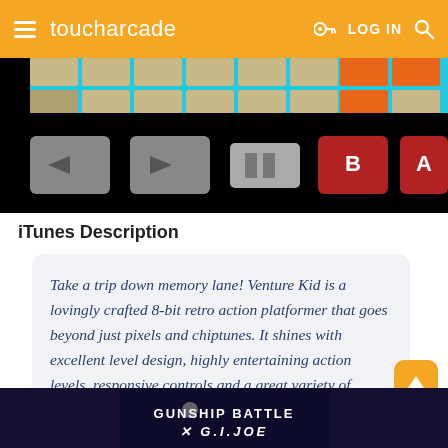toucharcade  LOG IN
[Figure (screenshot): Game screenshot showing retro 8-bit platformer game controls with left/right arrows, pause button, and B/A buttons on black background with cyan and brick tile level elements]
iTunes Description
Take a trip down memory lane! Venture Kid is a lovingly crafted 8-bit retro action platformer that goes beyond just pixels and chiptunes. It shines with excellent level design, highly entertaining action levels, responsive controls and a great variety of bosses.
[Figure (screenshot): Advertisement banner for Gunship Battle x G.I. Joe collaboration]